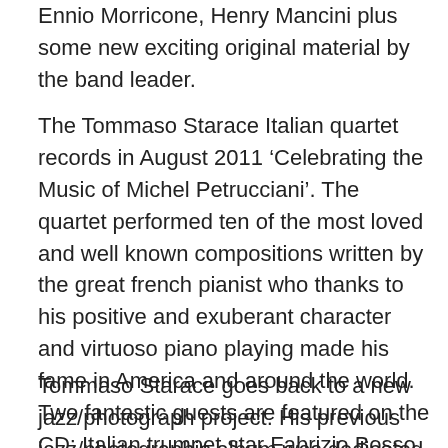Ennio Morricone, Henry Mancini plus some new exciting original material by the band leader.
The Tommaso Starace Italian quartet records in August 2011 ‘Celebrating the Music of Michel Petrucciani’. The quartet performed ten of the most loved and well known compositions written by the great french pianist who thanks to his positive and exuberant character and virtuoso piano playing made his fame in America and around the world. Two fantastic guests are featured on the CD: Italian trumpet star Fabrizio Bosso, and Uk vibraphone virtuoso Roger Beaujolais. The CD is released on the Universal Label.
Tommaso Starace goes back to a new jazz/photograph project. His previous jazz/photographic album was dedicated to the iconic images of Elliott Erwitt. 2014 sees the saxophonist embarking on a project dedicated to his